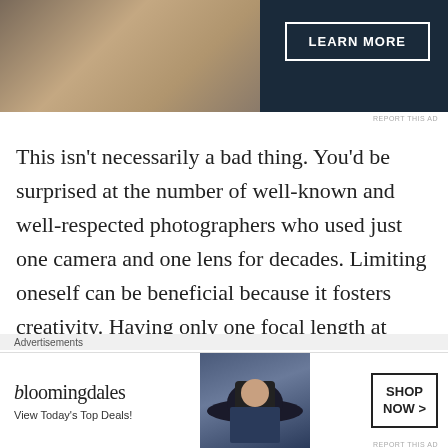[Figure (photo): Top advertisement banner with dark navy background and Learn More button, partially visible image on left side]
This isn't necessarily a bad thing. You'd be surprised at the number of well-known and well-respected photographers who used just one camera and one lens for decades. Limiting oneself can be beneficial because it fosters creativity. Having only one focal length at your disposal is only a disadvantage if you make it so.
One great thing about the 24-megapixel X-
[Figure (photo): Bloomingdales advertisement: logo, View Today's Top Deals text, woman in wide-brim hat, Shop Now button]